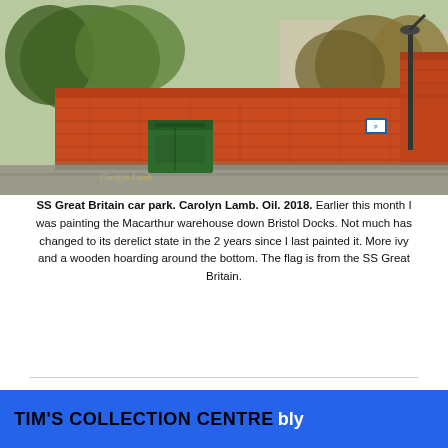[Figure (illustration): Oil painting of SS Great Britain car park by Carolyn Lamb, 2018. Shows a large orange-red brick wall with a green dumpster/bin in front, trees in background, streetlamp visible on right side.]
SS Great Britain car park. Carolyn Lamb. Oil. 2018. Earlier this month I was painting the Macarthur warehouse down Bristol Docks. Not much has changed to its derelict state in the 2 years since I last painted it. More ivy and a wooden hoarding around the bottom. The flag is from the SS Great Britain.
TIM'S COLLECTION CENTRE  POWERED BY Weebly